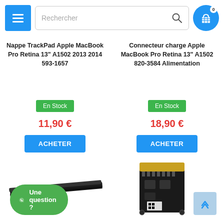[Figure (screenshot): Navigation header with menu button (hamburger, blue), search box with placeholder 'Rechercher', and cart icon (blue circle with badge '0')]
Nappe TrackPad Apple MacBook Pro Retina 13" A1502 2013 2014 593-1657
En Stock
11,90 €
ACHETER
Connecteur charge Apple MacBook Pro Retina 13" A1502 820-3584 Alimentation
En Stock
18,90 €
ACHETER
[Figure (photo): Black flat antenna/nappe strip component for MacBook]
[Figure (photo): Apple MacBook Wi-Fi / Bluetooth card component]
Une question ?